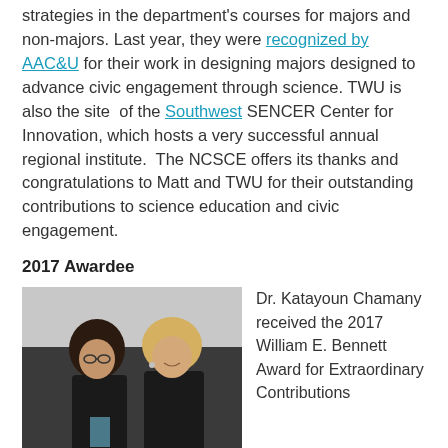strategies in the department's courses for majors and non-majors. Last year, they were recognized by AAC&U for their work in designing majors designed to advance civic engagement through science. TWU is also the site of the Southwest SENCER Center for Innovation, which hosts a very successful annual regional institute. The NCSCE offers its thanks and congratulations to Matt and TWU for their outstanding contributions to science education and civic engagement.
2017 Awardee
[Figure (photo): Two women standing together posing for a photo, one with dark hair and glasses, the other with blonde hair.]
Dr. Katayoun Chamany received the 2017 William E. Bennett Award for Extraordinary Contributions
to Citizen Science in recognition of her inspiring work at The